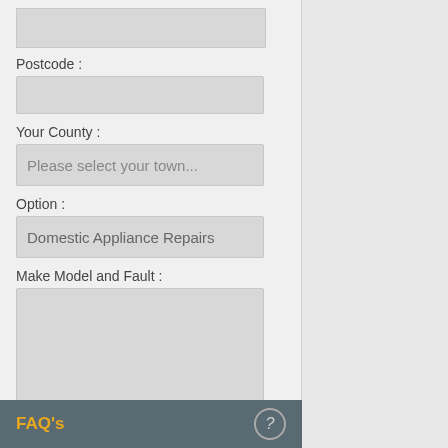[Figure (screenshot): Web form with input fields for Postcode, Your County (dropdown), Option (dropdown showing 'Domestic Appliance Repairs'), Make Model and Fault (textarea), a 'Send Your Enquiry' button, and a disclaimer text.]
Postcode :
Your County :
Please select your town...
Option :
Domestic Appliance Repairs
Make Model and Fault :
Send Your Enquiry
Your details will not be passed for 3rd Party Marketing
FAQ's